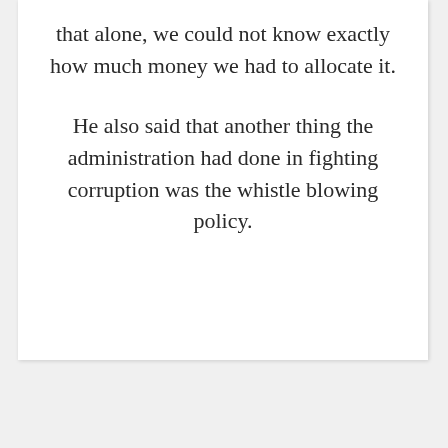that alone, we could not know exactly how much money we had to allocate it.
He also said that another thing the administration had done in fighting corruption was the whistle blowing policy.